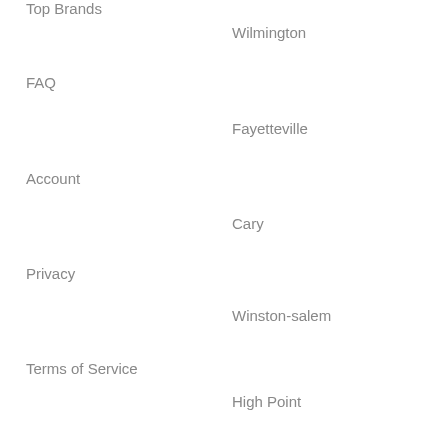Top Brands
Wilmington
FAQ
Fayetteville
Account
Cary
Privacy
Winston-salem
Terms of Service
High Point
Chapel Hill
Concord
View All Cities
Browse by Pizza Types
Browse by Dishes
New York Pizza
Caesar Salad
Sicilian Pizza
Cheesecake